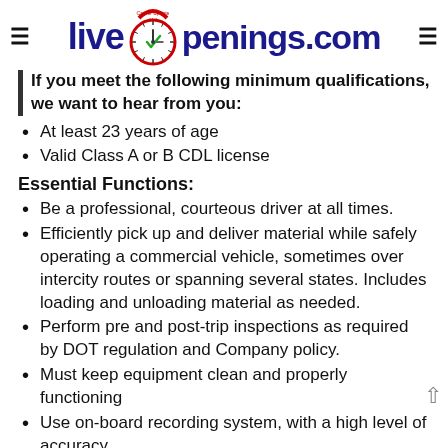LiveOpenings.com
If you meet the following minimum qualifications, we want to hear from you:
At least 23 years of age
Valid Class A or B CDL license
Essential Functions:
Be a professional, courteous driver at all times.
Efficiently pick up and deliver material while safely operating a commercial vehicle, sometimes over intercity routes or spanning several states. Includes loading and unloading material as needed.
Perform pre and post-trip inspections as required by DOT regulation and Company policy.
Must keep equipment clean and properly functioning
Use on-board recording system, with a high level of accuracy.